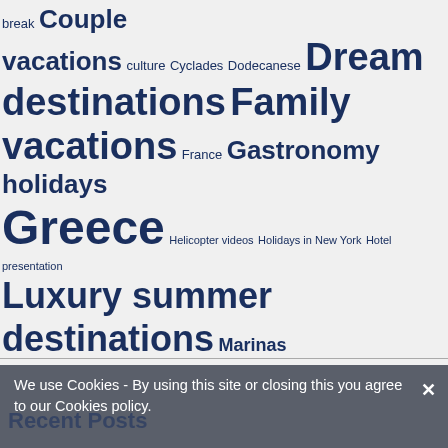[Figure (infographic): Tag cloud with travel-related keywords in various sizes and weights, all in dark navy blue on light gray background. Terms include: break, Couple vacations, culture, Cyclades, Dodecanese, Dream destinations, Family vacations, France, Gastronomy holidays, Greece, Helicopter videos, Holidays in New York, Hotel presentation, Luxury summer destinations, Marinas, Mediterranean, Mediterranean coastline, monasteries, Mount Athos, N.Y., New York, Portugal, Quick & Spicy, religious tourism, Romantic summer holidays, Sailing, Spain, Spring vacations, Summer destinations, Summer holidays, Summer nightlife, Tips for a trip to Athens, Tips for a trip to N.Y., Travel, Traveller, Vacations, visual contnet, Yachting]
We use Cookies - By using this site or closing this you agree to our Cookies policy.
Recent Posts